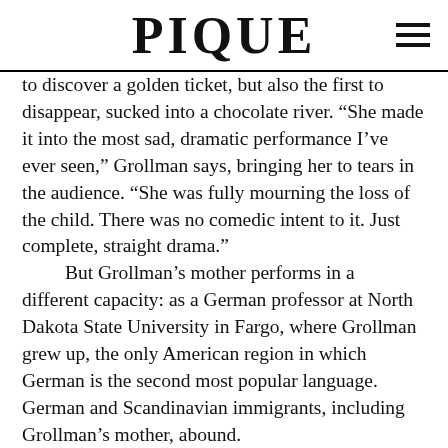PIQUE
to discover a golden ticket, but also the first to disappear, sucked into a chocolate river. “She made it into the most sad, dramatic performance I’ve ever seen,” Grollman says, bringing her to tears in the audience. “She was fully mourning the loss of the child. There was no comedic intent to it. Just complete, straight drama.”

But Grollman’s mother performs in a different capacity: as a German professor at North Dakota State University in Fargo, where Grollman grew up, the only American region in which German is the second most popular language. German and Scandinavian immigrants, including Grollman’s mother, abound.

Although Grollman would later seek out New